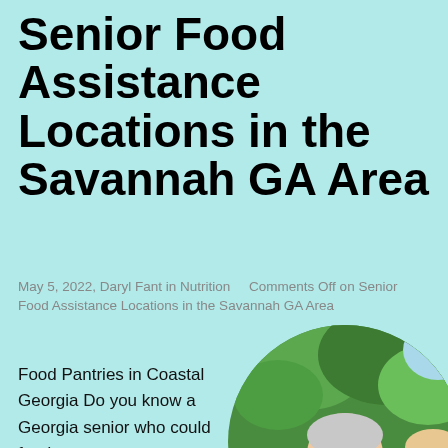Senior Food Assistance Locations in the Savannah GA Area
May 5, 2022, Daryl Fant in Nutrition    Comments Off on Senior Food Assistance Locations in the Savannah GA Area
Food Pantries in Coastal Georgia Do you know a Georgia senior who could food...
[Figure (photo): Circular photo of elderly seniors smiling outdoors with green foliage in the background]